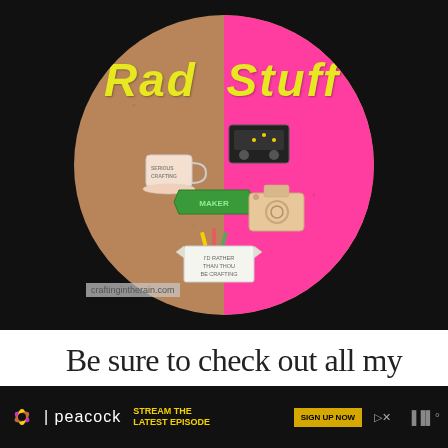[Figure (photo): A round cork board with the upper-right quarter painted hot pink. Yellow bold italic text reads 'Rad Stuff'. Several enamel pins are attached: a coffee cup pin saying 'serious crafting', a sewing machine pin, a green banner pin saying 'maker', a camera pin, and a banner pin saying 'I'd rather be crafting'. Watermark reads 'craftingintherain.com'. Background is black.]
Be sure to check out all my
[Figure (other): Peacock streaming service advertisement banner. Dark background with Peacock logo and text 'STREAM THE LATEST EPISODE' in yellow, and a 'SIGN UP NOW' button.]